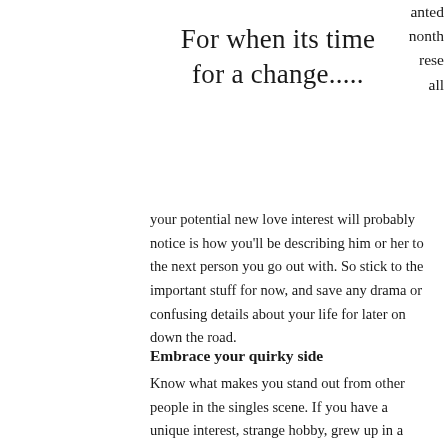For when its time for a change.....
anted
nonth
rese
all
your potential new love interest will probably notice is how you'll be describing him or her to the next person you go out with. So stick to the important stuff for now, and save any drama or confusing details about your life for later on down the road.
Embrace your quirky side
Know what makes you stand out from other people in the singles scene. If you have a unique interest, strange hobby, grew up in a non-traditional environment or have a part-time job that most people would run from, share it with your date.